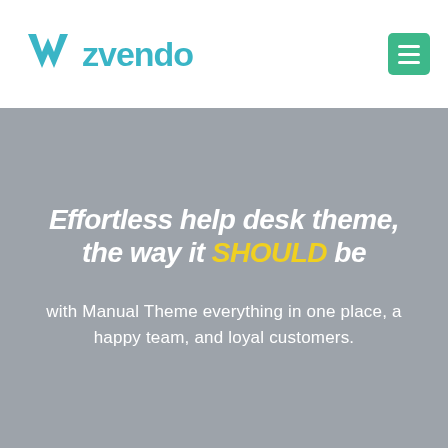[Figure (logo): Zvendo logo: a blue-teal V shape icon followed by the word 'zvendo' in teal/cyan bold text]
Effortless help desk theme, the way it SHOULD be
with Manual Theme everything in one place, a happy team, and loyal customers.